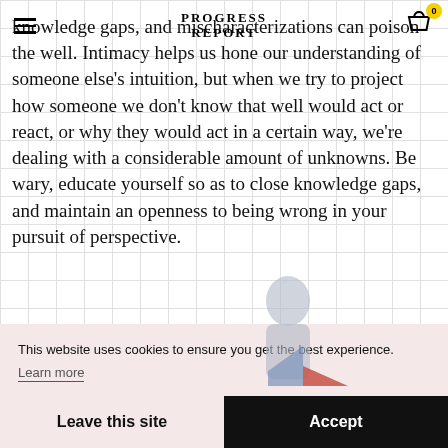PROGRESS REPORT
knowledge gaps, and mischaracterizations can poison the well. Intimacy helps us hone our understanding of someone else's intuition, but when we try to project how someone we don't know that well would act or react, or why they would act in a certain way, we're dealing with a considerable amount of unknowns. Be wary, educate yourself so as to close knowledge gaps, and maintain an openness to being wrong in your pursuit of perspective.
This website uses cookies to ensure you get the best experience.
Learn more
Leave this site
Accept